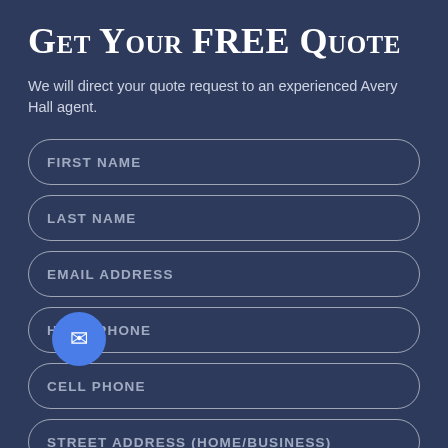Get Your FREE Quote
We will direct your quote request to an experienced Avery Hall agent.
FIRST NAME
LAST NAME
EMAIL ADDRESS
HOME PHONE
CELL PHONE
STREET ADDRESS (HOME/BUSINESS)